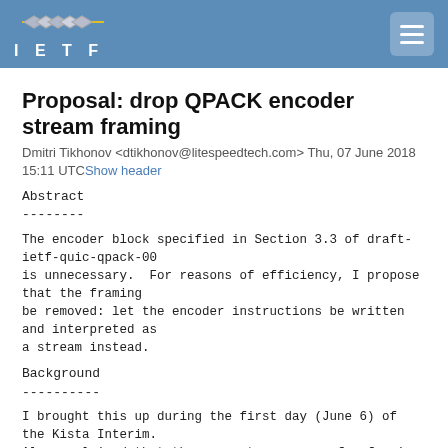IETF
Proposal: drop QPACK encoder stream framing
Dmitri Tikhonov <dtikhonov@litespeedtech.com> Thu, 07 June 2018 15:11 UTCShow header
Abstract
--------
The encoder block specified in Section 3.3 of draft-ietf-quic-qpack-00
is unnecessary.  For reasons of efficiency, I propose that the framing
be removed: let the encoder instructions be written and interpreted as
a stream instead.
Background
----------
I brought this up during the first day (June 6) of the Kista Interim.
Alan explained that there are two reasons for framing the
instructions.